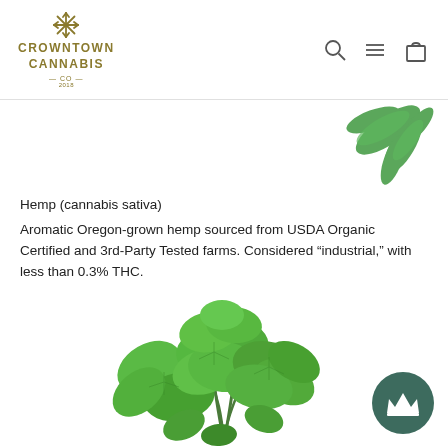[Figure (logo): Crowntown Cannabis Co. logo with golden/olive color and snowflake/leaf icon]
[Figure (other): Navigation icons: search magnifying glass, hamburger menu, and shopping bag]
[Figure (photo): Partial hemp (cannabis sativa) leaves visible at top right]
Hemp (cannabis sativa)
Aromatic Oregon-grown hemp sourced from USDA Organic Certified and 3rd-Party Tested farms. Considered "industrial," with less than 0.3% THC.
[Figure (photo): Fresh green mint herb bunch photographed on white background]
[Figure (other): Dark green circular crown badge/button in bottom right corner]